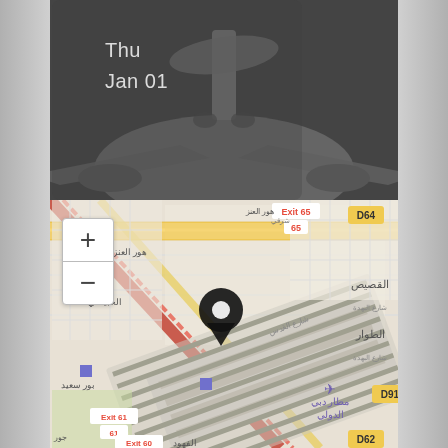[Figure (photo): Dark grey photo of an airplane (front view with tail and wings visible) with semi-transparent overlay. Shows date 'Thu Jan 01' in white text on upper left.]
Thu
Jan 01
[Figure (map): Street map of Dubai International Airport area showing Arabic street names, location pin marker, zoom controls (+/-), road labels including Exit 65, Exit 61, Exit 60, D64, D91, D62 road numbers, and Arabic text for مطار دبي الدولي (Dubai International Airport), الطوار, القصيص, الخبيصي, هور العنز, بور سعيد areas.]